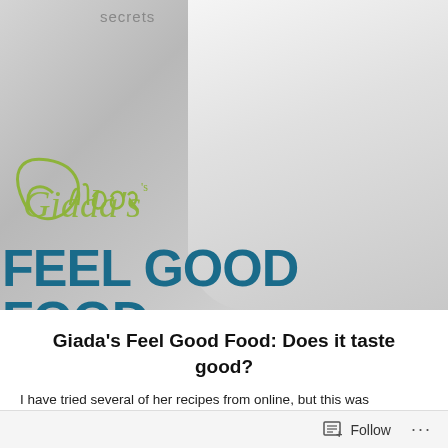[Figure (photo): Book cover of Giada's Feel Good Food showing a woman in white holding an apple, with the script 'Giada's' logo in olive green and 'FEEL GOOD FOOD' in large teal bold letters. The word 'secrets' appears at the top.]
Giada's Feel Good Food: Does it taste good?
I have tried several of her recipes from online, but this was